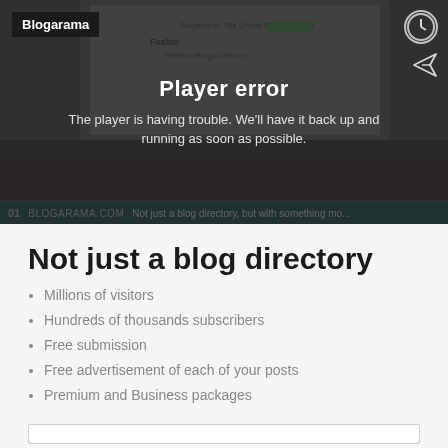[Figure (screenshot): Video player screenshot showing a Blogarama website on a laptop, with a dark overlay displaying a 'Player error' message. Text reads: 'Not just a blog directory, but with something mo...' and '01 BLOGARAMA.COM'. Blogarama logo badge top left. Clock icon top right. Send icon right side.]
Not just a blog directory
Millions of visitors
Hundreds of thousands subscribers
Free submission
Free advertisement of each of your posts
Premium and Business packages